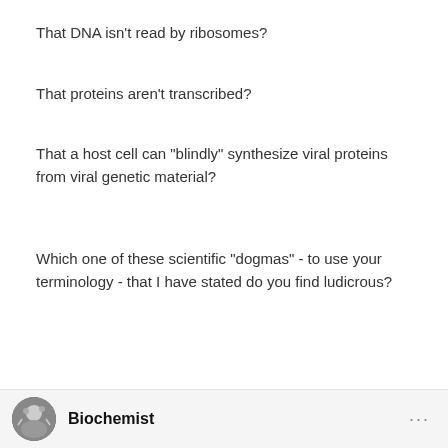That DNA isn't read by ribosomes?
That proteins aren't transcribed?
That a host cell can "blindly" synthesize viral proteins from viral genetic material?
Which one of these scientific "dogmas" - to use your terminology - that I have stated do you find ludicrous?
Biochemist